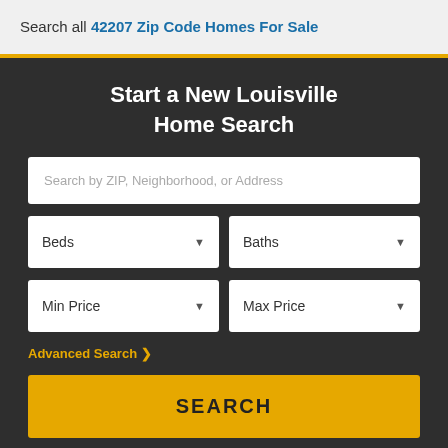Search all 42207 Zip Code Homes For Sale
Start a New Louisville Home Search
Search by ZIP, Neighborhood, or Address
Beds
Baths
Min Price
Max Price
Advanced Search ›
SEARCH